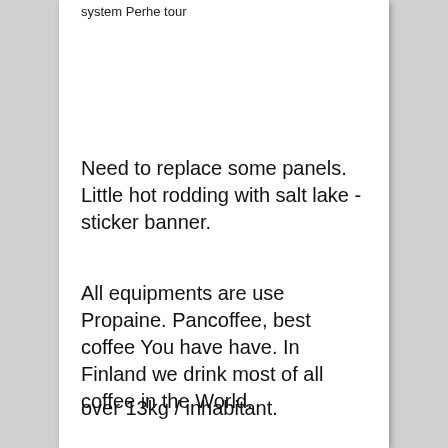system Perhe tour
Need to replace some panels.  Little hot rodding with salt lake -sticker banner.
All equipments are use Propaine.  Pancoffee,  best coffee You have have.  In Finland we drink most of all coffee in the World.
over 13kg / inhabitant.